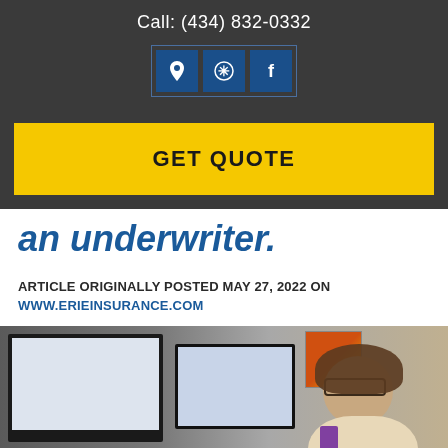Call: (434) 832-0332
[Figure (infographic): Three social media/location icon buttons (map pin, Yelp, Facebook) in dark blue squares with a blue border outline]
[Figure (infographic): Yellow GET QUOTE call-to-action button]
an underwriter.
ARTICLE ORIGINALLY POSTED MAY 27, 2022 ON WWW.ERIEINSURANCE.COM
[Figure (photo): A woman with curly hair and glasses sitting at a desk with computer monitors in an office setting, smiling at the camera]